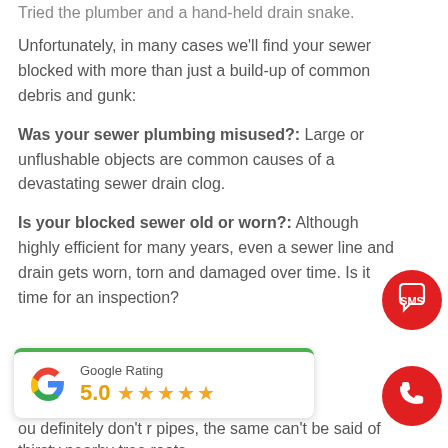Tried the plumber and a hand-held drain snake.
Unfortunately, in many cases we'll find your sewer blocked with more than just a build-up of common debris and gunk:
Was your sewer plumbing misused?: Large or unflushable objects are common causes of a devastating sewer drain clog.
Is your blocked sewer old or worn?: Although highly efficient for many years, even a sewer line and drain gets worn, torn and damaged over time. Is it time for an inspection?
[Figure (logo): Google Rating widget showing 5.0 stars with green top border]
you definitely don't r pipes, the same can't be said of thirsty nearby tree roots.